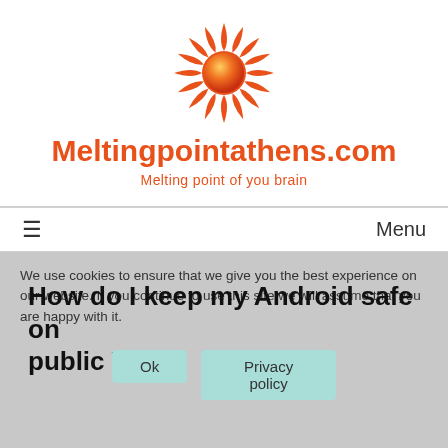[Figure (logo): Orange sun/starburst logo for Meltingpointathens.com]
Meltingpointathens.com
Melting point of you brain
≡  Menu
We use cookies to ensure that we give you the best experience on our website. If you continue to use this site we will assume that you are happy with it.
How do I keep my Android safe on public WiFi?
Ok   Privacy policy